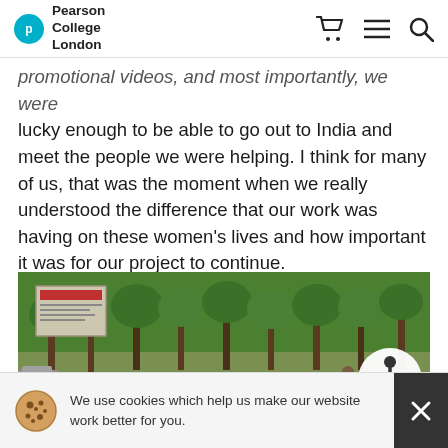Pearson College London
promotional videos, and most importantly, we were lucky enough to be able to go out to India and meet the people we were helping. I think for many of us, that was the moment when we really understood the difference that our work was having on these women's lives and how important it was for our project to continue.
[Figure (photo): Outdoor scene in India showing a park or public space with trees, a long bench/platform, a sign board, and people sitting. A white accessibility button icon overlaid in lower right.]
We use cookies which help us make our website work better for you.